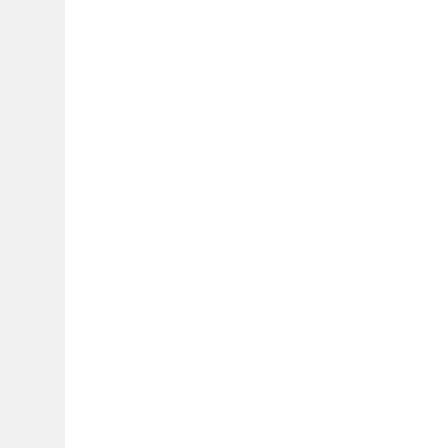God is so good t... truth. After I got... watch the Memor...
[Figure (photo): Outdoor photo showing a green plastic children's slide on a lawn, with tall dark green trees and ivy-covered vegetation in the background.]